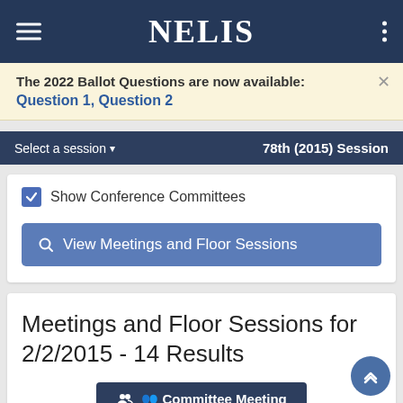NELIS
The 2022 Ballot Questions are now available: Question 1, Question 2
Select a session  78th (2015) Session
Show Conference Committees
View Meetings and Floor Sessions
Meetings and Floor Sessions for 2/2/2015 - 14 Results
Committee Meeting